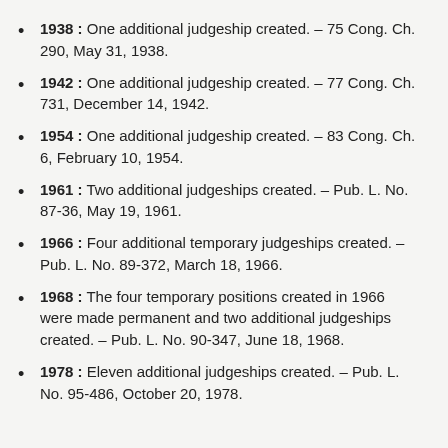1938 : One additional judgeship created. – 75 Cong. Ch. 290, May 31, 1938.
1942 : One additional judgeship created. – 77 Cong. Ch. 731, December 14, 1942.
1954 : One additional judgeship created. – 83 Cong. Ch. 6, February 10, 1954.
1961 : Two additional judgeships created. – Pub. L. No. 87-36, May 19, 1961.
1966 : Four additional temporary judgeships created. – Pub. L. No. 89-372, March 18, 1966.
1968 : The four temporary positions created in 1966 were made permanent and two additional judgeships created. – Pub. L. No. 90-347, June 18, 1968.
1978 : Eleven additional judgeships created. – Pub. L. No. 95-486, October 20, 1978.